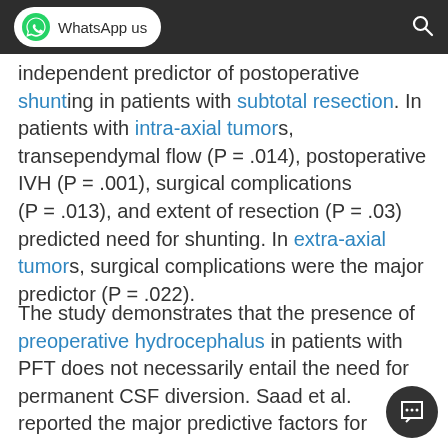WhatsApp us
independent predictor of postoperative shunting in patients with subtotal resection. In patients with intra-axial tumors, transependymal flow (P = .014), postoperative IVH (P = .001), surgical complications (P = .013), and extent of resection (P = .03) predicted need for shunting. In extra-axial tumors, surgical complications were the major predictor (P = .022).
The study demonstrates that the presence of preoperative hydrocephalus in patients with PFT does not necessarily entail the need for permanent CSF diversion. Saad et al. reported the major predictive factors for